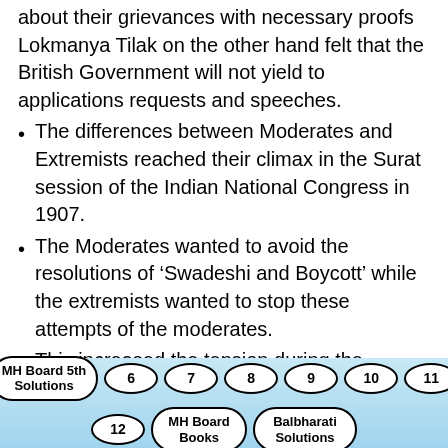about their grievances with necessary proofs Lokmanya Tilak on the other hand felt that the British Government will not yield to applications requests and speeches.
The differences between Moderates and Extremists reached their climax in the Surat session of the Indian National Congress in 1907.
The Moderates wanted to avoid the resolutions of ‘Swadeshi and Boycott’ while the extremists wanted to stop these attempts of the moderates.
This increased the tension during the session. Reconciliation became
MH Board 5th Solutions  6  7  8  9  10  11  12  MH Board Books  Balbharati Solutions